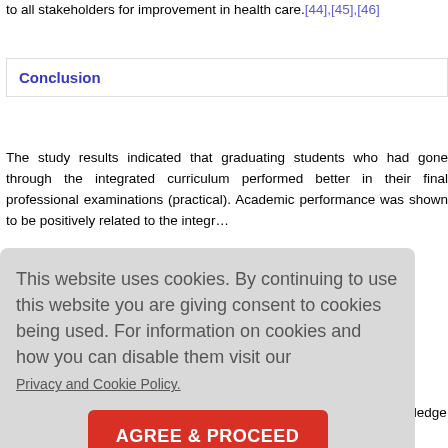to all stakeholders for improvement in health care.[44],[45],[46]
Conclusion
The study results indicated that graduating students who had gone through the integrated curriculum performed better in their final professional examinations (practical). Academic performance was shown to be positively related to the integr...
Limitations
tion. The in... ity of the stu... er number c... udy be don... latabase on...
al knowledge...
This website uses cookies. By continuing to use this website you are giving consent to cookies being used. For information on cookies and how you can disable them visit our Privacy and Cookie Policy.
AGREE & PROCEED
Additional author notes